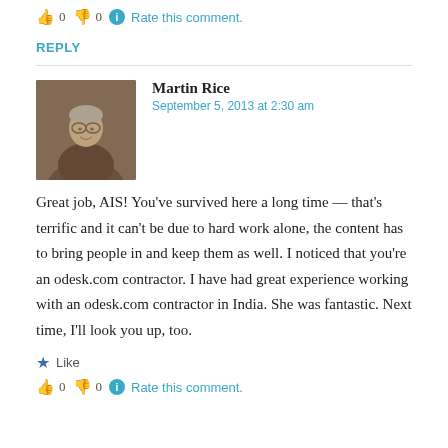👍 0 👎 0 ℹ Rate this comment.
REPLY
Martin Rice
September 5, 2013 at 2:30 am
[Figure (photo): Profile photo of Martin Rice, an elderly person]
Great job, AIS! You've survived here a long time — that's terrific and it can't be due to hard work alone, the content has to bring people in and keep them as well. I noticed that you're an odesk.com contractor. I have had great experience working with an odesk.com contractor in India. She was fantastic. Next time, I'll look you up, too.
★ Like
👍 0 👎 0 ℹ Rate this comment.